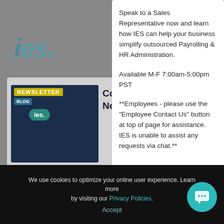[Figure (screenshot): IES website background with logo and gray overlay card showing newsletter signup, phone numbers, and blog button]
Speak to a Sales Representative now and learn how IES can help your business simplify outsourced Payrolling & HR Administration.
Available M-F 7:00am-5:00pm PST
**Employees - please use the "Employee Contact Us" button at top of page for assistance. IES is unable to assist any requests via chat.**
We use cookies to optimize your online user experience. Learn more by visiting our Privacy Policies.
Accept